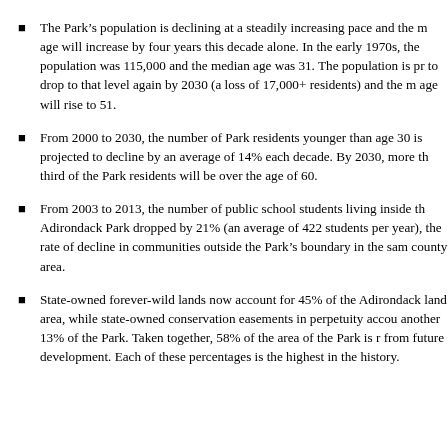The Park's population is declining at a steadily increasing pace and the median age will increase by four years this decade alone. In the early 1970s, the population was 115,000 and the median age was 31. The population is projected to drop to that level again by 2030 (a loss of 17,000+ residents) and the median age will rise to 51.
From 2000 to 2030, the number of Park residents younger than age 30 is projected to decline by an average of 14% each decade. By 2030, more than a third of the Park residents will be over the age of 60.
From 2003 to 2013, the number of public school students living inside the Adirondack Park dropped by 21% (an average of 422 students per year), double the rate of decline in communities outside the Park's boundary in the same county area.
State-owned forever-wild lands now account for 45% of the Adirondack Park land area, while state-owned conservation easements in perpetuity account for another 13% of the Park. Taken together, 58% of the area of the Park is removed from future development. Each of these percentages is the highest in the Park's history.